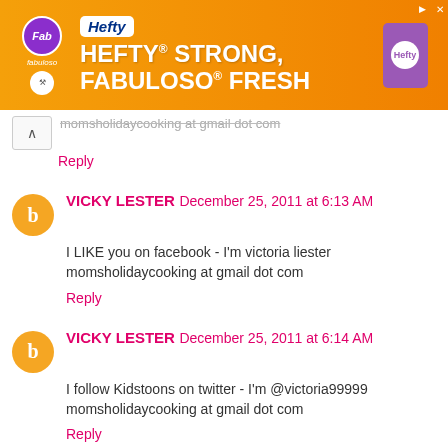[Figure (illustration): Hefty advertisement banner with orange background. Text reads 'HEFTY STRONG, FABULOSO FRESH' with Hefty and Fabuloso logos.]
momsholidaycooking at gmail dot com
Reply
VICKY LESTER December 25, 2011 at 6:13 AM
I LIKE you on facebook - I'm victoria liester momsholidaycooking at gmail dot com
Reply
VICKY LESTER December 25, 2011 at 6:14 AM
I follow Kidstoons on twitter - I'm @victoria99999 momsholidaycooking at gmail dot com
Reply
VICKY LESTER December 25, 2011 at 6:15 AM